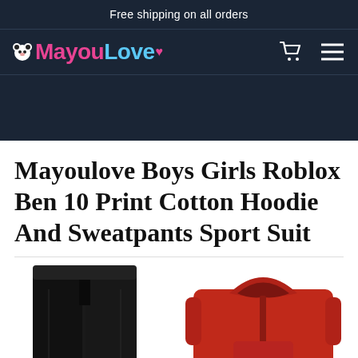Free shipping on all orders
MayouLove
Mayoulove Boys Girls Roblox Ben 10 Print Cotton Hoodie And Sweatpants Sport Suit
[Figure (photo): Two children's garments: a black sweatpants/bottom piece on the left and a red hoodie on the right, shown against a white background.]